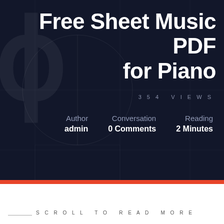Free Sheet Music PDF for Piano
354 VIEWS
Author
admin
Conversation
0 Comments
Reading
2 Minutes
SCROLL TO READ MORE